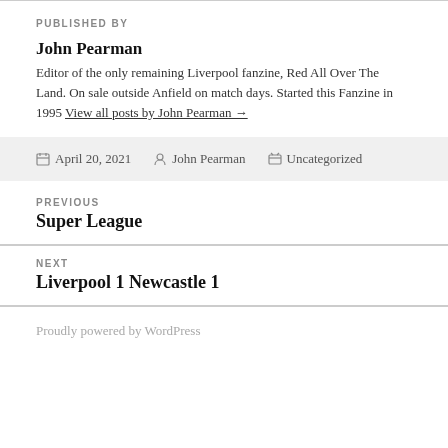PUBLISHED BY
John Pearman
Editor of the only remaining Liverpool fanzine, Red All Over The Land. On sale outside Anfield on match days. Started this Fanzine in 1995 View all posts by John Pearman →
April 20, 2021   John Pearman   Uncategorized
PREVIOUS
Super League
NEXT
Liverpool 1 Newcastle 1
Proudly powered by WordPress